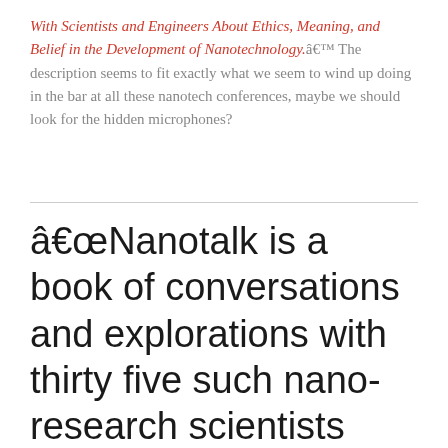With Scientists and Engineers About Ethics, Meaning, and Belief in the Development of Nanotechnology.â€™ The description seems to fit exactly what we seem to wind up doing in the bar at all these nanotech conferences, maybe we should look for the hidden microphones?
â€œNanotalk is a book of conversations and explorations with thirty five such nano-research scientists and engineers who share their ideas, experiences, perceptions, and beliefs about their work, humanity, nature, change, and the future of the world with...